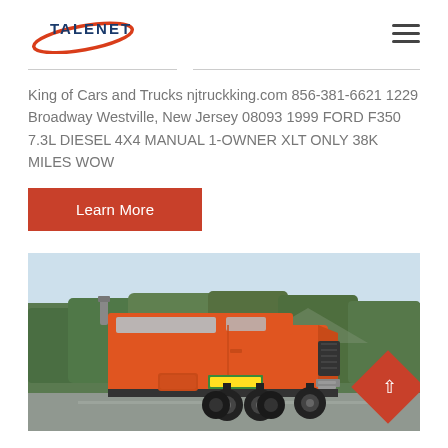[Figure (logo): Talenet logo with red ellipse swoosh and blue/dark text]
King of Cars and Trucks njtruckking.com 856-381-6621 1229 Broadway Westville, New Jersey 08093 1999 FORD F350 7.3L DIESEL 4X4 MANUAL 1-OWNER XLT ONLY 38K MILES WOW
Learn More
[Figure (photo): Orange semi truck / tractor unit parked outdoors with trees in background]